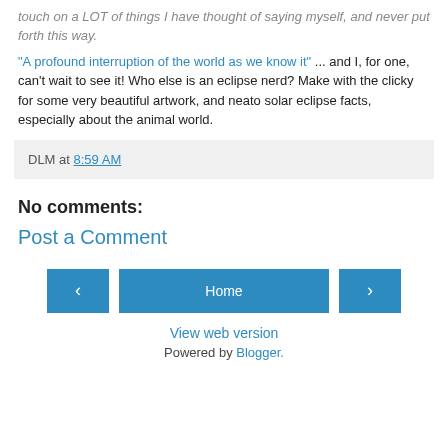touch on a LOT of things I have thought of saying myself, and never put forth this way.
"A profound interruption of the world as we know it" ... and I, for one, can't wait to see it! Who else is an eclipse nerd? Make with the clicky for some very beautiful artwork, and neato solar eclipse facts, especially about the animal world.
DLM at 8:59 AM
No comments:
Post a Comment
Home
View web version
Powered by Blogger.